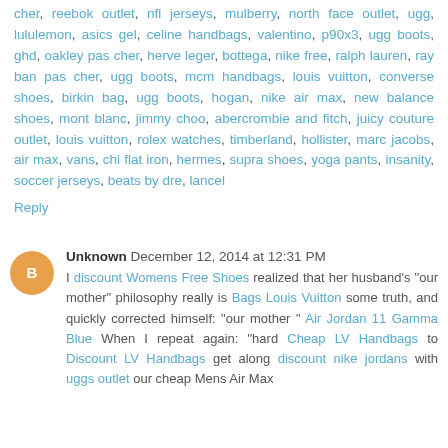cher, reebok outlet, nfl jerseys, mulberry, north face outlet, ugg, lululemon, asics gel, celine handbags, valentino, p90x3, ugg boots, ghd, oakley pas cher, herve leger, bottega, nike free, ralph lauren, ray ban pas cher, ugg boots, mcm handbags, louis vuitton, converse shoes, birkin bag, ugg boots, hogan, nike air max, new balance shoes, mont blanc, jimmy choo, abercrombie and fitch, juicy couture outlet, louis vuitton, rolex watches, timberland, hollister, marc jacobs, air max, vans, chi flat iron, hermes, supra shoes, yoga pants, insanity, soccer jerseys, beats by dre, lancel
Reply
Unknown December 12, 2014 at 12:31 PM
I discount Womens Free Shoes realized that her husband's "our mother" philosophy really is Bags Louis Vuitton some truth, and quickly corrected himself: "our mother " Air Jordan 11 Gamma Blue When I repeat again: "hard Cheap LV Handbags to Discount LV Handbags get along discount nike jordans with uggs outlet our cheap Mens Air Max